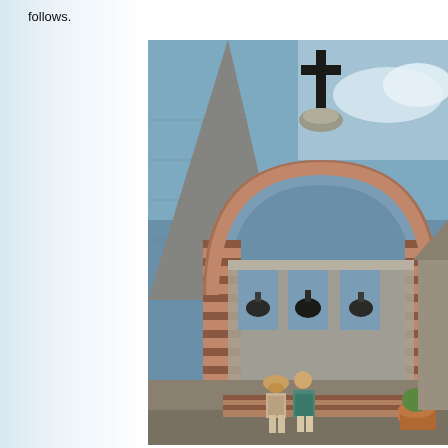follows.
[Figure (photo): A mission-style church exterior with a prominent brick archway in alternating red and cream bricks, a bell wall visible through the arch showing three hanging bells, a cross silhouetted against a blue sky with clouds, a stone pyramid-shaped structure on the left, and two people sitting on a low wall beneath the arch.]